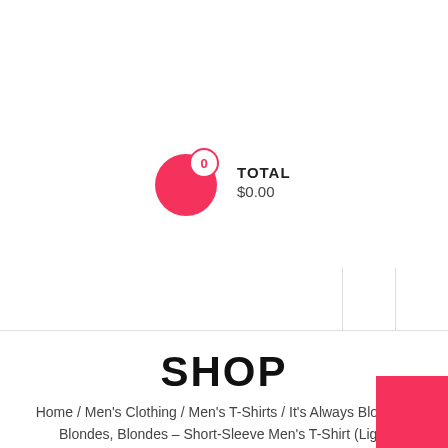[Figure (infographic): Shopping cart icon: large pink circle with a smaller white-bordered pink circle badge showing '0' count, next to text 'TOTAL $0.00']
TOTAL $0.00
SHOP
Home / Men's Clothing / Men's T-Shirts / It's Always Blondes, Blondes, Blondes – Short-Sleeve Men's T-Shirt (Light